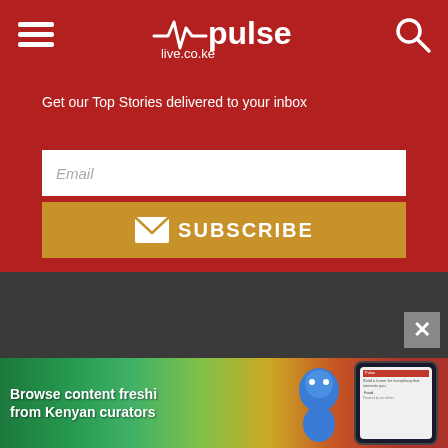[Figure (screenshot): Pulse live.co.ke website header with red background, hamburger menu icon on left, Pulse logo in center, search icon on right]
Get our Top Stories delivered to your inbox
[Figure (screenshot): White email input field with placeholder text 'Email']
[Figure (screenshot): Golden/amber subscribe button with envelope icon and text SUBSCRIBE]
[Figure (screenshot): Advertisement banner: Browse content freshi from Kenyan curators, with a blue character mascot and phone mockup on dark background]
[Figure (screenshot): Close/dismiss button (X) overlay on the advertisement]